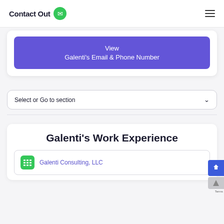ContactOut
View
Galenti's Email & Phone Number
Select or Go to section
Galenti's Work Experience
Galenti Consulting, LLC